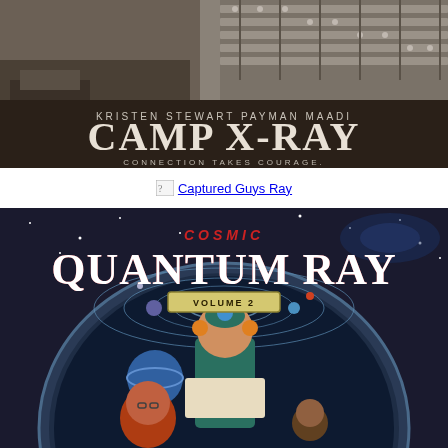[Figure (photo): Movie poster for 'Camp X-Ray' showing a black and white image of a detention facility with barbed wire fencing. Stars Kristen Stewart and Payman Maadi. Tagline: 'Connection Takes Courage.']
Captured Guys Ray
[Figure (illustration): Animated book/DVD cover for 'Cosmic Quantum Ray Volume 2' featuring cartoon characters against a space background with solar system imagery and an arch motif. Characters include a scientist-type hero and two companions.]